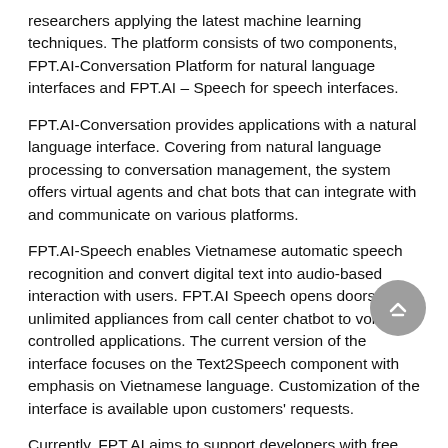researchers applying the latest machine learning techniques. The platform consists of two components, FPT.AI-Conversation Platform for natural language interfaces and FPT.AI – Speech for speech interfaces.
FPT.AI-Conversation provides applications with a natural language interface. Covering from natural language processing to conversation management, the system offers virtual agents and chat bots that can integrate with and communicate on various platforms.
FPT.AI-Speech enables Vietnamese automatic speech recognition and convert digital text into audio-based interaction with users. FPT.AI Speech opens doors to the unlimited appliances from call center chatbot to voice controlled applications. The current version of the interface focuses on the Text2Speech component with emphasis on Vietnamese language. Customization of the interface is available upon customers' requests.
Currently, FPT.AI aims to support developers with free trial version available at https://fpt.ai/. The company also has service packages for enterprises.
Talking about the release of the new platform, FPT CTO l...